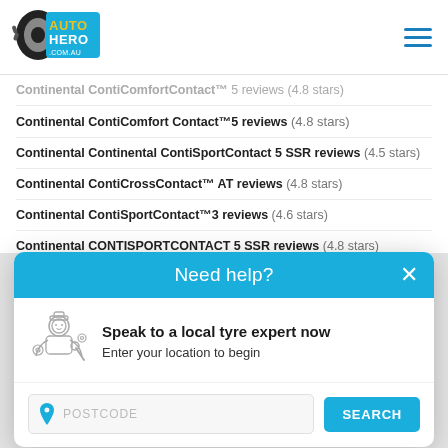[Figure (logo): AutoHero.com.au logo with tyre icon]
Continental ContiComfortContact™ 5 reviews (4.8 stars)
Continental Continental ContiSportContact 5 SSR reviews (4.5 stars)
Continental ContiCrossContact™ AT reviews (4.8 stars)
Continental ContiSportContact™3 reviews (4.6 stars)
Continental CONTISPORTCONTACT 5 SSR reviews (4.8 stars)
Continental ContiPremium Contact™2 reviews (4.6 stars)
Continental ContiSportContact™ 6 reviews (4.8 stars)
Need help?
Speak to a local tyre expert now
Enter your location to begin
POSTCODE SEARCH